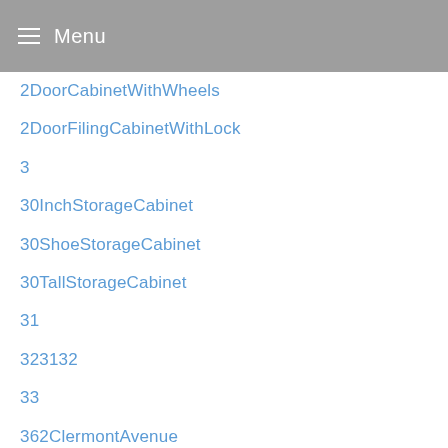Menu
2DoorCabinetWithWheels
2DoorFilingCabinetWithLock
3
30InchStorageCabinet
30ShoeStorageCabinet
30TallStorageCabinet
31
323132
33
362ClermontAvenue
37
376
377
3D
3dRose
4
42